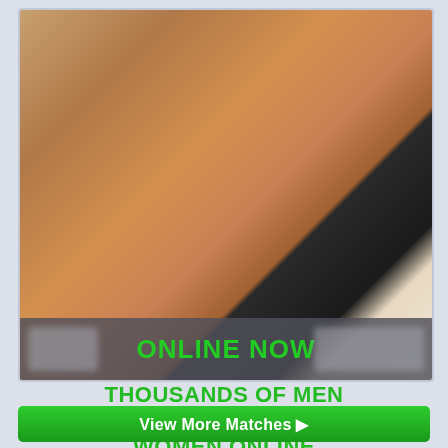[Figure (photo): Advertisement image showing a person wearing a black bra, with an 'ONLINE NOW' overlay bar at the bottom in green text on a semi-transparent dark background, with blurred profile elements on either side.]
THOUSANDS OF MEN ARE DATING AND MEETING WOMEN ONLINE
View More Matches ▶